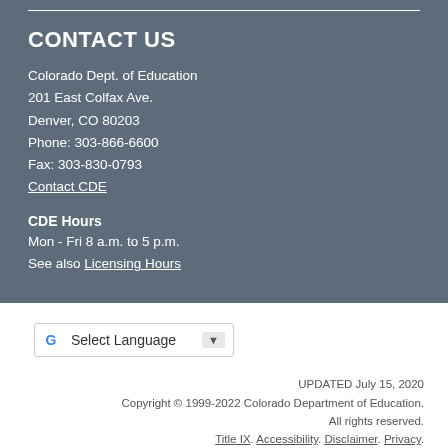CONTACT US
Colorado Dept. of Education
201 East Colfax Ave.
Denver, CO 80203
Phone: 303-866-6600
Fax: 303-830-0793
Contact CDE
CDE Hours
Mon - Fri 8 a.m. to 5 p.m.
See also Licensing Hours
[Figure (other): Google Translate widget with 'Select Language' dropdown]
UPDATED July 15, 2020
Copyright © 1999-2022 Colorado Department of Education. All rights reserved.
Title IX. Accessibility. Disclaimer. Privacy.